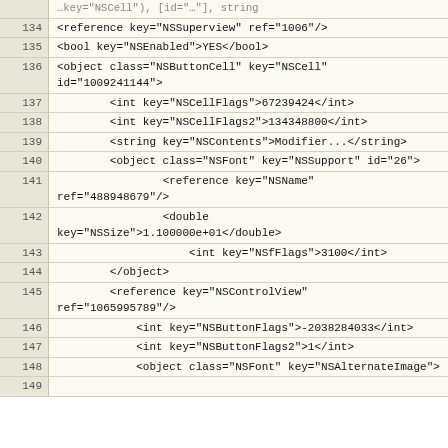Code listing showing XML/NIB file content, lines 134-149
| Line | Code |
| --- | --- |
| 134 | <reference key="NSSuperview" ref="1006"/> |
| 135 | <bool key="NSEnabled">YES</bool> |
| 136 | <object class="NSButtonCell" key="NSCell" id="1009241144"> |
| 137 |     <int key="NSCellFlags">67239424</int> |
| 138 |     <int key="NSCellFlags2">134348800</int> |
| 139 |     <string key="NSContents">Modifier...</string> |
| 140 |     <object class="NSFont" key="NSSupport" id="26"> |
| 141 |         <reference key="NSName" ref="488948679"/> |
| 142 |         <double key="NSSize">1.100000e+01</double> |
| 143 |             <int key="NSfFlags">3100</int> |
| 144 |     </object> |
| 145 |     <reference key="NSControlView" ref="1065995789"/> |
| 146 |         <int key="NSButtonFlags">-2038284033</int> |
| 147 |         <int key="NSButtonFlags2">1</int> |
| 148 |         <object class="NSFont" key="NSAlternateImage"> |
| 149 |  |